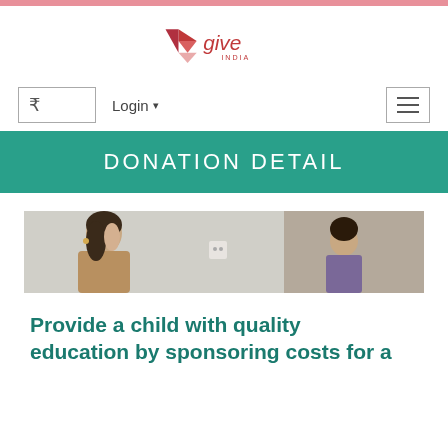[Figure (logo): Give India logo with geometric arrow/triangle pattern in red/pink and text 'give INDIA' in red]
[Figure (screenshot): Navigation bar with rupee symbol box, Login dropdown, and hamburger menu button]
DONATION DETAIL
[Figure (photo): Banner photo showing two people, a woman in profile on the left and a child on the right in an indoor setting]
Provide a child with quality education by sponsoring costs for a